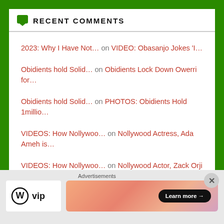RECENT COMMENTS
2023: Why I Have Not… on VIDEO: Obasanjo Jokes 'I…
Obidients hold Solid… on Obidients Lock Down Owerri for…
Obidients hold Solid… on PHOTOS: Obidients Hold 1millio…
VIDEOS: How Nollywoo… on Nollywood Actress, Ada Ameh is…
VIDEOS: How Nollywoo… on Nollywood Actor, Zack Orji Dec…
Advertisements
[Figure (logo): WordPress VIP logo and advertisement banner with 'Learn more' button]